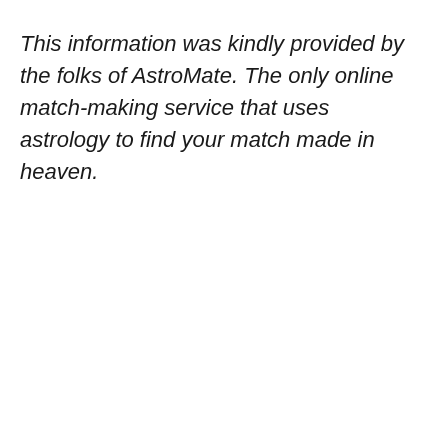This information was kindly provided by the folks of AstroMate. The only online match-making service that uses astrology to find your match made in heaven.